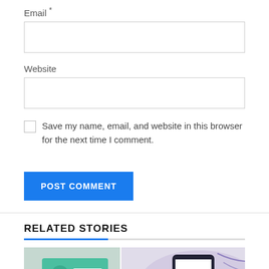Email *
Website
Save my name, email, and website in this browser for the next time I comment.
POST COMMENT
RELATED STORIES
[Figure (illustration): Two illustration thumbnails: left shows a teal card with a play button icon and text lines; right shows a smartphone with a number pad and a person at a laptop, with decorative purple shapes in background.]